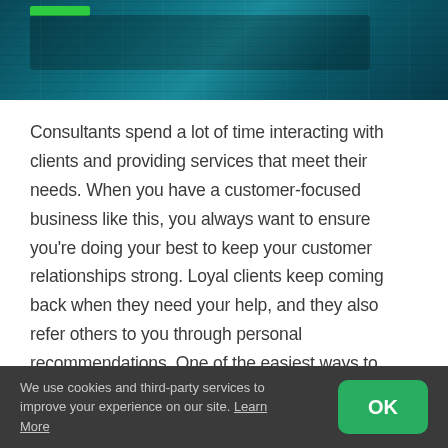[Figure (photo): Dark teal/blue hero image of office or technology environment with a green accent bar at top left]
Consultants spend a lot of time interacting with clients and providing services that meet their needs. When you have a customer-focused business like this, you always want to ensure you're doing your best to keep your customer relationships strong. Loyal clients keep coming back when they need your help, and they also refer others to you through personal recommendations. One of the easiest ways to improve your customers' perspective of your business and maintain a consistent audience is to utilize the customer relationship management (CRM) software available from Simple
We use cookies and third-party services to improve your experience on our site. Learn More  OK